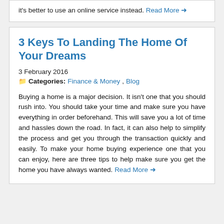it's better to use an online service instead. Read More →
3 Keys To Landing The Home Of Your Dreams
3 February 2016
📁 Categories: Finance & Money, Blog
Buying a home is a major decision. It isn't one that you should rush into. You should take your time and make sure you have everything in order beforehand. This will save you a lot of time and hassles down the road. In fact, it can also help to simplify the process and get you through the transaction quickly and easily. To make your home buying experience one that you can enjoy, here are three tips to help make sure you get the home you have always wanted. Read More →